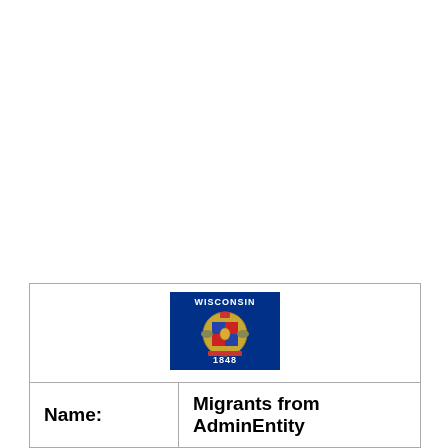| [Wisconsin Flag] |  |
| Name: | Migrants from AdminEntity |